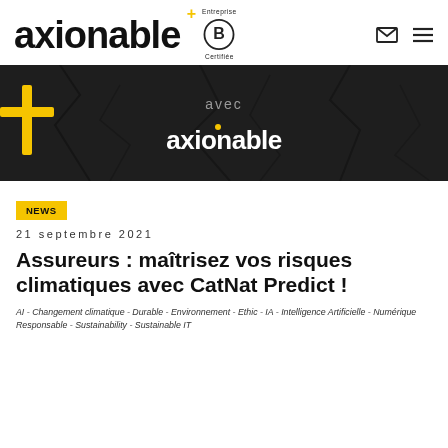axionable+ — Entreprise B Certifiée
[Figure (illustration): Dark banner with cracked earth background, golden plus sign on left, text 'avec' in gray and 'axionable' in white with gold plus dot]
NEWS
21 septembre 2021
Assureurs : maîtrisez vos risques climatiques avec CatNat Predict !
AI - Changement climatique - Durable - Environnement - Ethic - IA - Intelligence Artificielle - Numérique Responsable - Sustainability - Sustainable IT